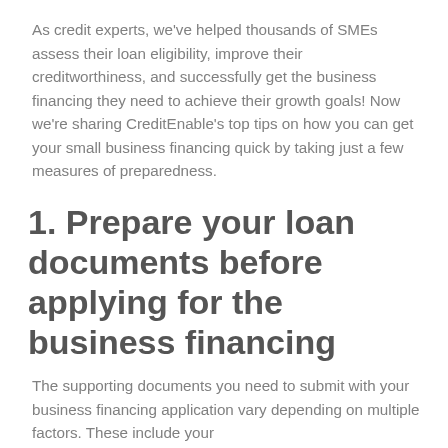As credit experts, we've helped thousands of SMEs assess their loan eligibility, improve their creditworthiness, and successfully get the business financing they need to achieve their growth goals! Now we're sharing CreditEnable's top tips on how you can get your small business financing quick by taking just a few measures of preparedness.
1. Prepare your loan documents before applying for the business financing
The supporting documents you need to submit with your business financing application vary depending on multiple factors. These include your